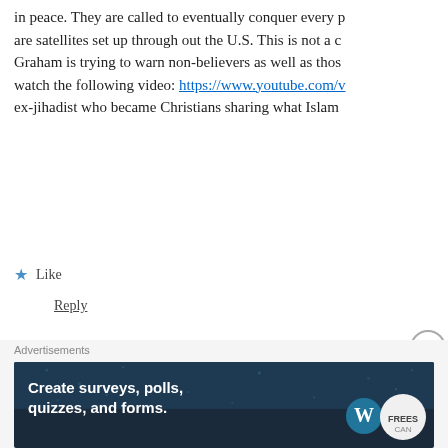in peace. They are called to eventually conquer every p… are satellites set up through out the U.S. This is not a c… Graham is trying to warn non-believers as well as thos… watch the following video: https://www.youtube.com/v… ex-jihadist who became Christians sharing what Islam …
★ Like
Reply
jim says: July 20, 2015 at 8:13 pm
Thanks for your comment. You're obviousl…
Aren't there some Christians who claim tha…
Advertisements
[Figure (screenshot): Advertisement banner: 'Create surveys, polls, quizzes, and forms.' with WordPress and SurveyMonkey logos on dark blue background with dot pattern]